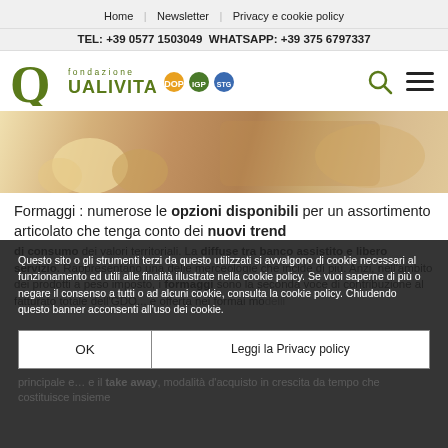Home | Newsletter | Privacy e cookie policy
TEL: +39 0577 1503049 WHATSAPP: +39 375 6797337
[Figure (logo): Fondazione Qualivita logo with green Q and colored certification icons]
[Figure (photo): Close-up photo of various Italian cheeses and food products]
Formaggi : numerose le opzioni disponibili per un assortimento articolato che tenga conto dei nuovi trend di consumo dei valori territoriali. La diffuse tra banco assistito e libero servizio. Rappresentano una delle merceologie che incide di più. Anzi, nell'ambito dei prodotti a peso imposto, i formaggi sono la seconda voce di contribuzione al fatturato totale dell'GDO…e offrono nei formai modelli evoluzione costante: il drive-principale e… e il take away, modalità d'acquisto in crescita da tempo che costituisce insieme
Questo sito o gli strumenti terzi da questo utilizzati si avvalgono di cookie necessari al funzionamento ed utili alle finalità illustrate nella cookie policy. Se vuoi saperne di più o negare il consenso a tutti o ad alcuni cookie, consulta la cookie policy. Chiudendo questo banner acconsenti all'uso dei cookie.
OK
Leggi la Privacy policy